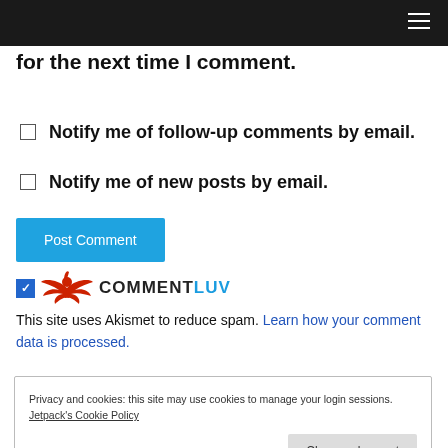for the next time I comment.
Notify me of follow-up comments by email.
Notify me of new posts by email.
Post Comment
[Figure (logo): CommentLuv logo with red bird/wings icon and text COMMENTLUV, checkbox checked]
This site uses Akismet to reduce spam. Learn how your comment data is processed.
Privacy and cookies: this site may use cookies to manage your login sessions. Jetpack's Cookie Policy. Close and accept.